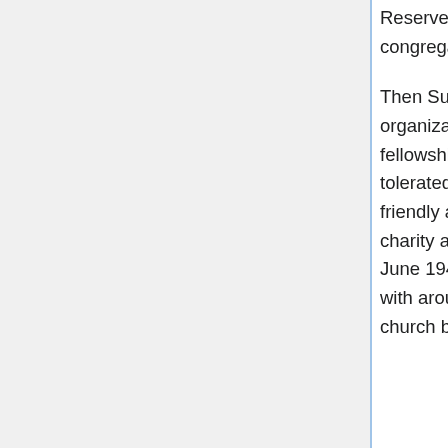Reserve. Because Bishop Gerhard Wiebe lived in the village of Chortitz, their congregation was known from then on as the Chortitz Mennonite Church.

Then Sunday schools, choirs, young people's societies, and similar organizations were outside the realm of their church activities. No spiritual fellowship with other Mennonite church groups or congregations was tolerated. Concerning civil and social activities, however, they took a more friendly and tolerant attitude toward their brethren. They also contributed to charity and public relief at home and abroad. Before the trek to Paraguay in June 1948, the Chortitz Mennonite Church had approximately 600 families with around 1,500 members, 12 preachers, 6 stations of worship, but only 4 church buildings